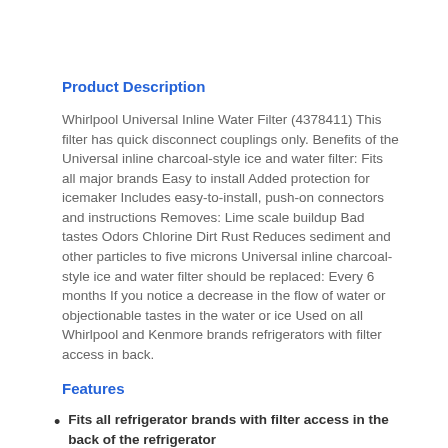Product Description
Whirlpool Universal Inline Water Filter (4378411) This filter has quick disconnect couplings only. Benefits of the Universal inline charcoal-style ice and water filter: Fits all major brands Easy to install Added protection for icemaker Includes easy-to-install, push-on connectors and instructions Removes: Lime scale buildup Bad tastes Odors Chlorine Dirt Rust Reduces sediment and other particles to five microns Universal inline charcoal-style ice and water filter should be replaced: Every 6 months If you notice a decrease in the flow of water or objectionable tastes in the water or ice Used on all Whirlpool and Kenmore brands refrigerators with filter access in back.
Features
Fits all refrigerator brands with filter access in the back of the refrigerator